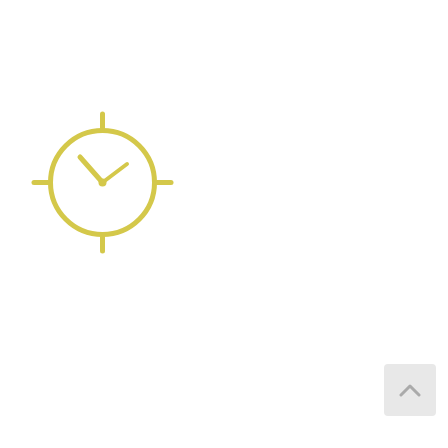[Figure (illustration): Yellow outline clock icon with crosshair lines at top, bottom, left, right. Clock hands point to approximately 10:10.]
[Figure (illustration): Yellow outline compass/navigation icon inside a circle with crosshair lines at top, bottom, left, right. Compass needle is a diamond shape pointing roughly northeast.]
[Figure (illustration): Yellow outline phone/call icon with signal waves on the right side, indicating a phone call.]